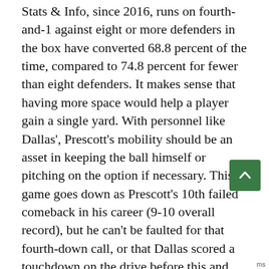Stats & Info, since 2016, runs on fourth-and-1 against eight or more defenders in the box have converted 68.8 percent of the time, compared to 74.8 percent for fewer than eight defenders. It makes sense that having more space would help a player gain a single yard. With personnel like Dallas', Prescott's mobility should be an asset in keeping the ball himself or pitching on the option if necessary. This game goes down as Prescott's 10th failed comeback in his career (9-10 overall record), but he can't be faulted for that fourth-down call, or that Dallas scored a touchdown on the drive before this and the one after it. The defense just needed to play better.
It was a stellar night for McVay's offensive line. Jared Goff was barely pressured and the line paved the way for Todd Gurley and C.J. Anderson to both rush for at least 115 yards and a touchdown. Elliott also finished with 47 yards on 9 carries for Dallas.